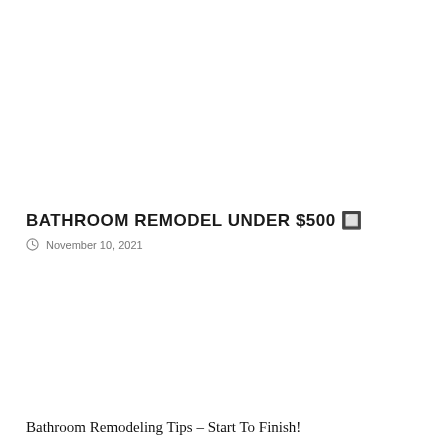BATHROOM REMODEL UNDER $500 🔲
November 10, 2021
Bathroom Remodeling Tips – Start To Finish!